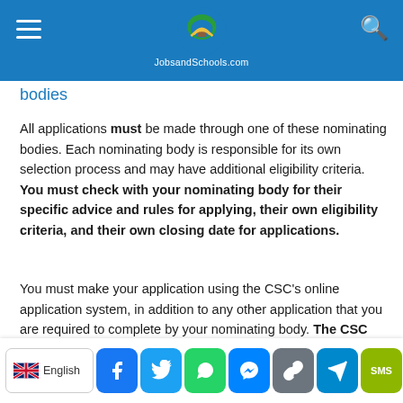JobsandSchools.com
bodies
All applications must be made through one of these nominating bodies. Each nominating body is responsible for its own selection process and may have additional eligibility criteria. You must check with your nominating body for their specific advice and rules for applying, their own eligibility criteria, and their own closing date for applications.
You must make your application using the CSC's online application system, in addition to any other application that you are required to complete by your nominating body. The CSC will not a su
English | Facebook | Twitter | WhatsApp | Messenger | Link | Telegram | SMS | +